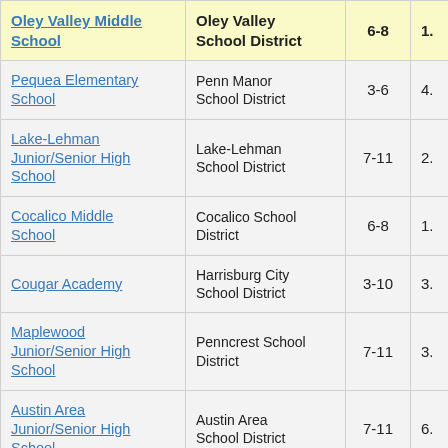| School | District | Grades |  |
| --- | --- | --- | --- |
| Oley Valley Middle School | Oley Valley School District | 6-8 | 1. |
| Pequea Elementary School | Penn Manor School District | 3-6 | 4. |
| Lake-Lehman Junior/Senior High School | Lake-Lehman School District | 7-11 | 2. |
| Cocalico Middle School | Cocalico School District | 6-8 | 1. |
| Cougar Academy | Harrisburg City School District | 3-10 | 3. |
| Maplewood Junior/Senior High School | Penncrest School District | 7-11 | 3. |
| Austin Area Junior/Senior High School | Austin Area School District | 7-11 | 6. |
| Trachffrin... |  |  |  |